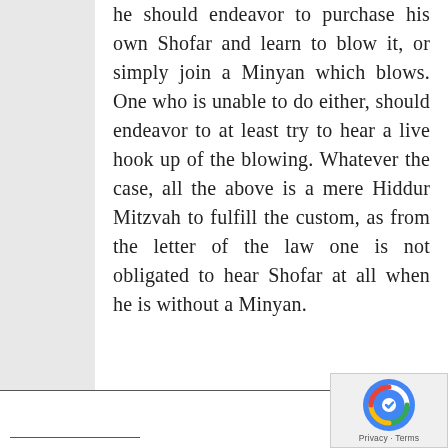he should endeavor to purchase his own Shofar and learn to blow it, or simply join a Minyan which blows. One who is unable to do either, should endeavor to at least try to hear a live hook up of the blowing. Whatever the case, all the above is a mere Hiddur Mitzvah to fulfill the custom, as from the letter of the law one is not obligated to hear Shofar at all when he is without a Minyan.